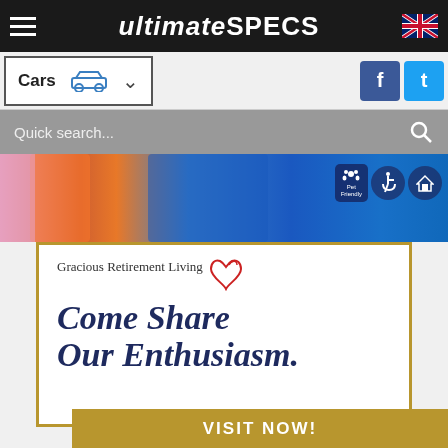ultimateSPECS
Cars
Quick search...
[Figure (screenshot): Screenshot of ultimateSPECS website with Cars dropdown navigation, search bar, and an advertisement for Gracious Retirement Living reading 'Come Share Our Enthusiasm.' with a VISIT NOW! button]
Gracious Retirement Living
Come Share Our Enthusiasm.
VISIT NOW!